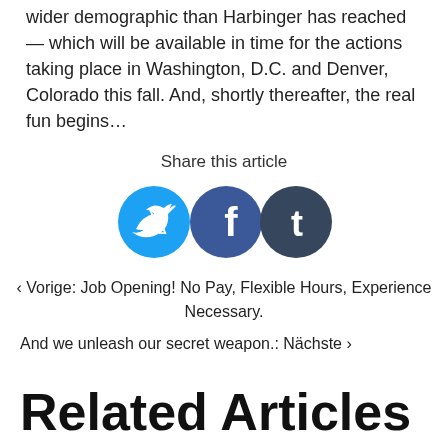wider demographic than Harbinger has reached — which will be available in time for the actions taking place in Washington, D.C. and Denver, Colorado this fall. And, shortly thereafter, the real fun begins…
Share this article
[Figure (infographic): Three social media share buttons: Twitter (blue circle), Facebook (dark blue circle), Tumblr (dark blue/gray circle)]
‹ Vorige: Job Opening! No Pay, Flexible Hours, Experience Necessary.
And we unleash our secret weapon.: Nächste ›
Related Articles